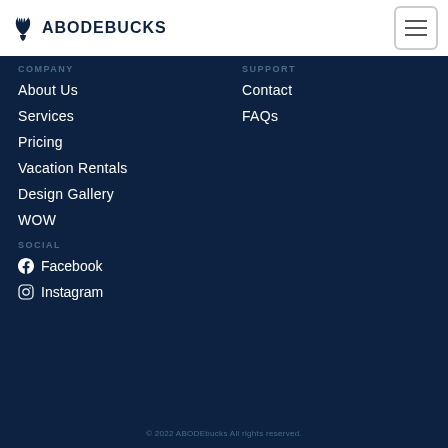ABODEBUCKS
COMPANY
About Us
Services
Pricing
Vacation Rentals
Design Gallery
WOW
SOCIAL
Facebook
Instagram
SUPPORT
Contact
FAQs
© 2022 ABODEbucks All rights reserved.